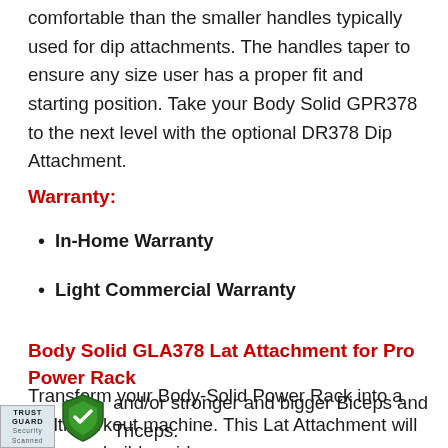comfortable than the smaller handles typically used for dip attachments. The handles taper to ensure any size user has a proper fit and starting position. Take your Body Solid GPR378 to the next level with the optional DR378 Dip Attachment.
Warranty:
In-Home Warranty
Light Commercial Warranty
Body Solid GLA378 Lat Attachment for Pro Power Rack
Transform your Body-Solid Power Rack into a multi-workout machine. This Lat Attachment will help you build a wider, and/or stronger and bigger Biceps and Triceps.
[Figure (logo): Trust Guard Security Scanned badge with shield icon]